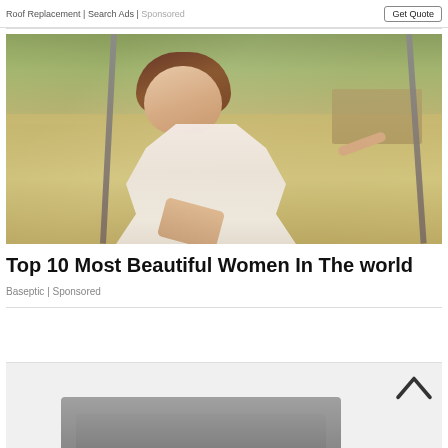Roof Replacement | Search Ads | Sponsored
[Figure (photo): A woman in a white lace dress sitting on a swing outdoors with a rural background]
Top 10 Most Beautiful Women In The world
Baseptic | Sponsored
[Figure (photo): Partial view of a grey sofa or furniture item at the bottom of the screen, with an upward chevron arrow in the top right corner]